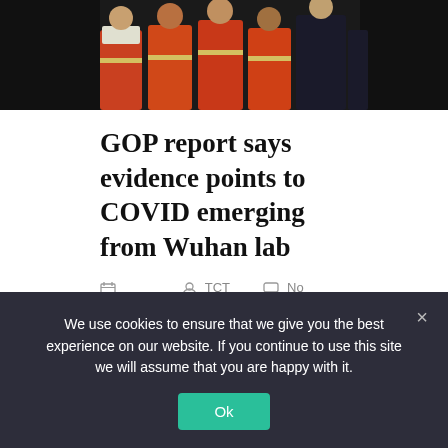[Figure (photo): Group of people wearing orange/red hazmat or protective suits, partial view, dark background]
GOP report says evidence points to COVID emerging from Wuhan lab
08/03/2021   TCT Admin   No Comments
Share on Social Media
[Figure (infographic): Row of social media share buttons: Facebook, Twitter, LinkedIn, Reddit, MeWe, WhatsApp, Blogger, Telegram, Parler]
[Figure (infographic): Second row of social share buttons: Tumblr, Tweet button, Share button]
We use cookies to ensure that we give you the best experience on our website. If you continue to use this site we will assume that you are happy with it.